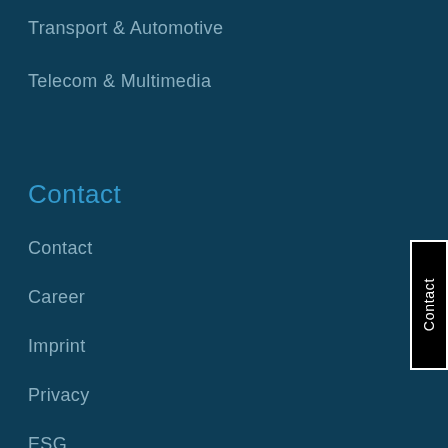Transport & Automotive
Telecom & Multimedia
Contact
Contact
Career
Imprint
Privacy
ESG
QHSE
Move for Charity
Contact